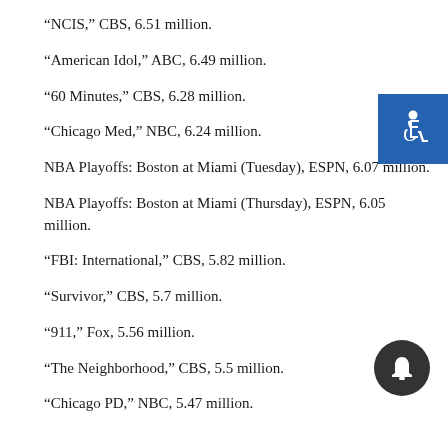“NCIS,” CBS, 6.51 million.
“American Idol,” ABC, 6.49 million.
“60 Minutes,” CBS, 6.28 million.
“Chicago Med,” NBC, 6.24 million.
NBA Playoffs: Boston at Miami (Tuesday), ESPN, 6.07 million.
NBA Playoffs: Boston at Miami (Thursday), ESPN, 6.05 million.
“FBI: International,” CBS, 5.82 million.
“Survivor,” CBS, 5.7 million.
“911,” Fox, 5.56 million.
“The Neighborhood,” CBS, 5.5 million.
“Chicago PD,” NBC, 5.47 million.
[Figure (illustration): Blue accessibility icon square in top right corner]
[Figure (illustration): Dark circular bell/notification icon in bottom right area]